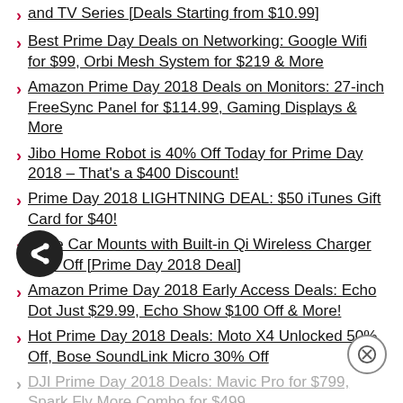and TV Series [Deals Starting from $10.99]
Best Prime Day Deals on Networking: Google Wifi for $99, Orbi Mesh System for $219 & More
Amazon Prime Day 2018 Deals on Monitors: 27-inch FreeSync Panel for $114.99, Gaming Displays & More
Jibo Home Robot is 40% Off Today for Prime Day 2018 – That's a $400 Discount!
Prime Day 2018 LIGHTNING DEAL: $50 iTunes Gift Card for $40!
iOttie Car Mounts with Built-in Qi Wireless Charger 30% Off [Prime Day 2018 Deal]
Amazon Prime Day 2018 Early Access Deals: Echo Dot Just $29.99, Echo Show $100 Off & More!
Hot Prime Day 2018 Deals: Moto X4 Unlocked 50% Off, Bose SoundLink Micro 30% Off
DJI Prime Day 2018 Deals: Mavic Pro for $799, Spark Fly More Combo for $499
Amazon Prime Day 2018 Deals on Unlocked Phones: